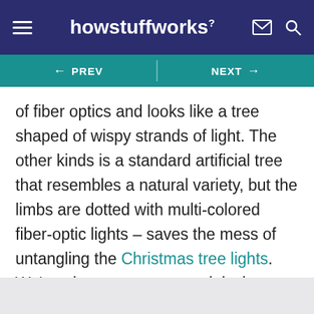howstuffworks
← PREV   NEXT →
of fiber optics and looks like a tree shaped of wispy strands of light. The other kinds is a standard artificial tree that resembles a natural variety, but the limbs are dotted with multi-colored fiber-optic lights – saves the mess of untangling the Christmas tree lights. We've also seen some models that come complete with an MP3 player and speakers so the sounds of the holiday can waft from your brightly-lit tree.